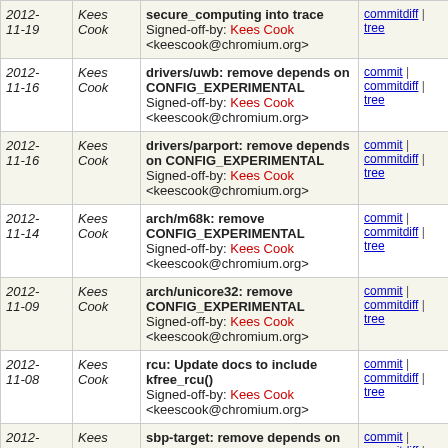| Date | Author | Commit message | Links |
| --- | --- | --- | --- |
| 2012-11-19 | Kees Cook | secure_computing into trace
Signed-off-by: Kees Cook <keescook@chromium.org> | commitdiff | tree |
| 2012-11-16 | Kees Cook | drivers/uwb: remove depends on CONFIG_EXPERIMENTAL
Signed-off-by: Kees Cook <keescook@chromium.org> | commit | commitdiff | tree |
| 2012-11-16 | Kees Cook | drivers/parport: remove depends on CONFIG_EXPERIMENTAL
Signed-off-by: Kees Cook <keescook@chromium.org> | commit | commitdiff | tree |
| 2012-11-14 | Kees Cook | arch/m68k: remove CONFIG_EXPERIMENTAL
Signed-off-by: Kees Cook <keescook@chromium.org> | commit | commitdiff | tree |
| 2012-11-09 | Kees Cook | arch/unicore32: remove CONFIG_EXPERIMENTAL
Signed-off-by: Kees Cook <keescook@chromium.org> | commit | commitdiff | tree |
| 2012-11-08 | Kees Cook | rcu: Update docs to include kfree_rcu()
Signed-off-by: Kees Cook <keescook@chromium.org> | commit | commitdiff | tree |
| 2012-11-08 | Kees Cook | sbp-target: remove depends on CONFIG_EXPERIMENTAL
Signed-off-by: Kees Cook <keescook@chromium.org> | commit | commitdiff | tree |
| 2012-11-01 | Kees Cook | fs/dlm: remove CONFIG_EXPERIMENTAL | commit | commitdiff | tree |